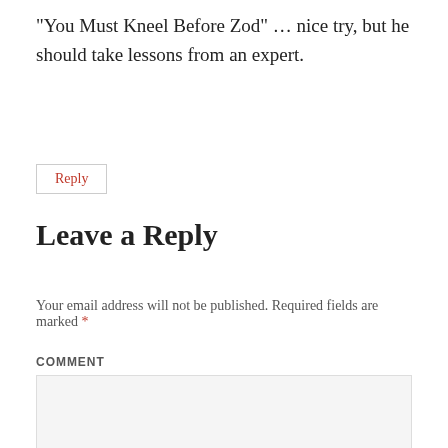“You Must Kneel Before Zod” … nice try, but he should take lessons from an expert.
Reply
Leave a Reply
Your email address will not be published. Required fields are marked *
COMMENT